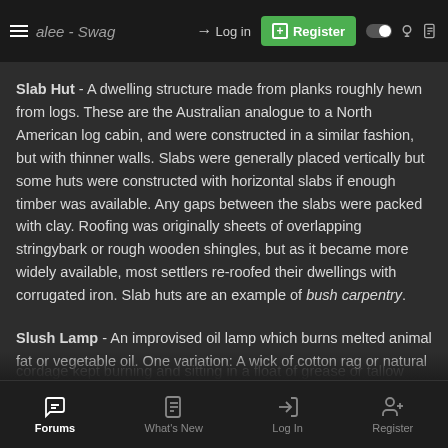≡ alee - Swag  → Log in  ⊞ Register
Slab Hut - A dwelling structure made from planks roughly hewn from logs. These are the Australian analogue to a North American log cabin, and were constructed in a similar fashion, but with thinner walls. Slabs were generally placed vertically but some huts were constructed with horizontal slabs if enough timber was available. Any gaps between the slabs were packed with clay. Roofing was originally sheets of overlapping stringybark or rough wooden shingles, but as it became more widely available, most settlers re-roofed their dwellings with corrugated iron. Slab huts are an example of bush carpentry.
Slush Lamp - An improvised oil lamp which burns melted animal fat or vegetable oil. One variation: A wick of cotton rag or natural ...
Forums  What's New  Log In  Register